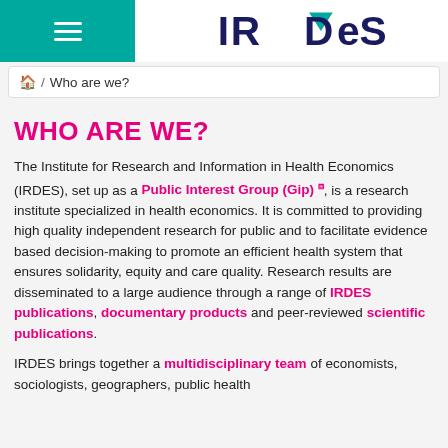IRDeS logo and hamburger menu navigation
🏠 / Who are we?
WHO ARE WE?
The Institute for Research and Information in Health Economics (IRDES), set up as a Public Interest Group (Gip) [external link], is a research institute specialized in health economics. It is committed to providing high quality independent research for public and to facilitate evidence based decision-making to promote an efficient health system that ensures solidarity, equity and care quality. Research results are disseminated to a large audience through a range of IRDES publications, documentary products and peer-reviewed scientific publications.
IRDES brings together a multidisciplinary team of economists, sociologists, geographers, public health